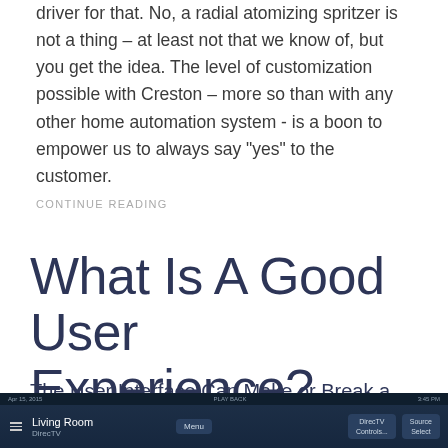driver for that. No, a radial atomizing spritzer is not a thing – at least not that we know of, but you get the idea. The level of customization possible with Creston – more so than with any other home automation system - is a boon to empower us to always say “yes” to the customer.
CONTINUE READING
What Is A Good User Experience?
The User Interface Can Make or Break a Client’s Experience
[Figure (screenshot): Screenshot of a home automation control interface showing Living Room controls with DirecTV and Source Select buttons on a dark blue background.]